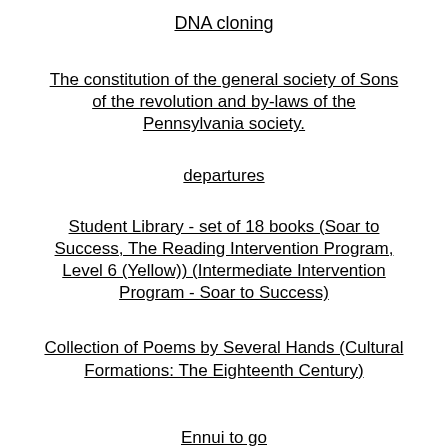DNA cloning
The constitution of the general society of Sons of the revolution and by-laws of the Pennsylvania society.
departures
Student Library - set of 18 books (Soar to Success, The Reading Intervention Program, Level 6 (Yellow)) (Intermediate Intervention Program - Soar to Success)
Collection of Poems by Several Hands (Cultural Formations: The Eighteenth Century)
Ennui to go